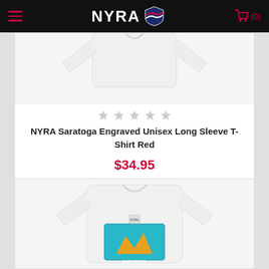NYRA (0)
[Figure (photo): White long sleeve t-shirt product photo (top portion visible)]
★★★★★
NYRA Saratoga Engraved Unisex Long Sleeve T-Shirt Red
$34.95
CHOOSE OPTIONS
[Figure (photo): White long sleeve t-shirt with Saratoga graphic patch (bottom card, partially visible)]